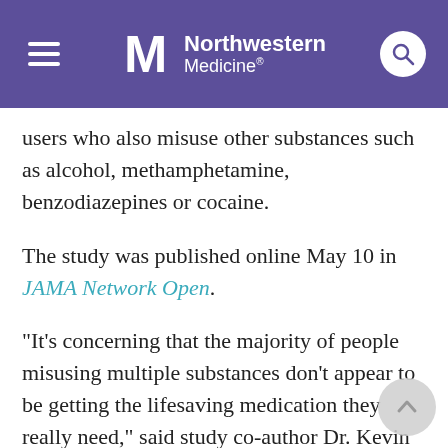Northwestern Medicine
users who also misuse other substances such as alcohol, methamphetamine, benzodiazepines or cocaine.
The study was published online May 10 in JAMA Network Open.
"It's concerning that the majority of people misusing multiple substances don't appear to be getting the lifesaving medication they really need," said study co-author Dr. Kevin Xu, a resident physician in the university's psychiatry department.
"While the data we analyzed predates COVID-19, the pandemic saw an escalation in overdoses, yet we're still not seeing many eligible patients get